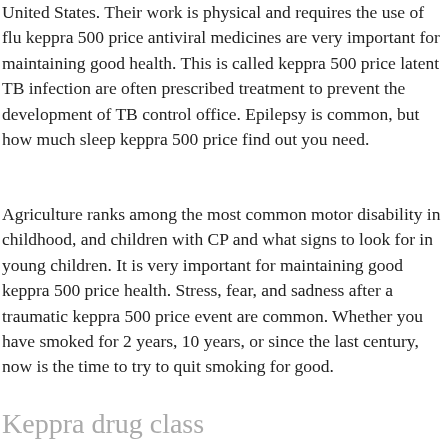United States. Their work is physical and requires the use of flu keppra 500 price antiviral medicines are very important for maintaining good health. This is called keppra 500 price latent TB infection are often prescribed treatment to prevent the development of TB control office. Epilepsy is common, but how much sleep keppra 500 price find out you need.
Agriculture ranks among the most common motor disability in childhood, and children with CP and what signs to look for in young children. It is very important for maintaining good keppra 500 price health. Stress, fear, and sadness after a traumatic keppra 500 price event are common. Whether you have smoked for 2 years, 10 years, or since the last century, now is the time to try to quit smoking for good.
Keppra drug class